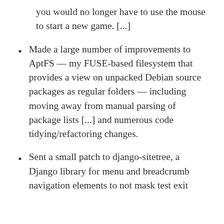you would no longer have to use the mouse to start a new game. [...]
Made a large number of improvements to AptFS — my FUSE-based filesystem that provides a view on unpacked Debian source packages as regular folders — including moving away from manual parsing of package lists [...] and numerous code tidying/refactoring changes.
Sent a small patch to django-sitetree, a Django library for menu and breadcrumb navigation elements to not mask test exit